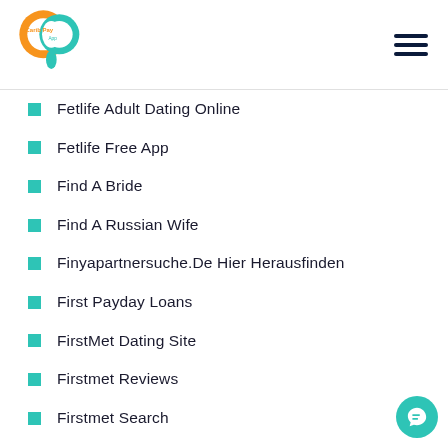Carib Pay App
Fetlife Adult Dating Online
Fetlife Free App
Find A Bride
Find A Russian Wife
Finyapartnersuche.De Hier Herausfinden
First Payday Loans
FirstMet Dating Site
Firstmet Reviews
Firstmet Search
Fisch-Kopf.Com Internet
Fischkopfpartnersuche.De Gute Seite